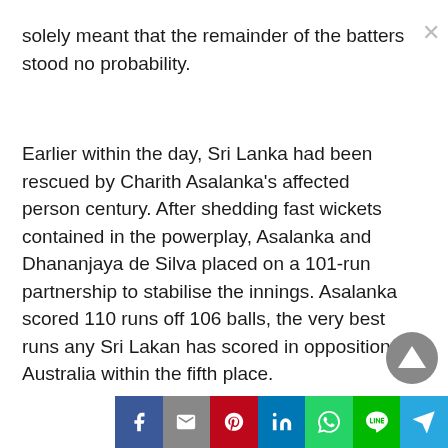solely meant that the remainder of the batters stood no probability.
Earlier within the day, Sri Lanka had been rescued by Charith Asalanka's affected person century. After shedding fast wickets contained in the powerplay, Asalanka and Dhananjaya de Silva placed on a 101-run partnership to stabilise the innings. Asalanka scored 110 runs off 106 balls, the very best runs any Sri Lakan has scored in opposition to Australia within the fifth place.